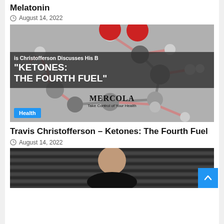Melatonin
August 14, 2022
[Figure (photo): Molecular structure 3D model with red and gray spheres representing atoms, overlaid with text: 'is Christofferson Discusses His B "KETONES: THE FOURTH FUEL" MERCOLA Take Control of Your Health'. Health badge in bottom left corner.]
Travis Christofferson – Ketones: The Fourth Fuel
August 14, 2022
[Figure (photo): Partial image of a bald person, appears to be a headshot/portrait against a dark background with horizontal lines.]